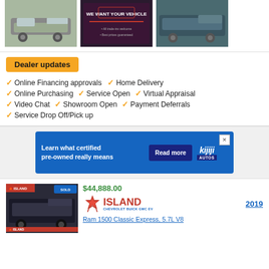[Figure (photo): Three thumbnail images: silver SUV side view, dark promotional banner 'We Want Your Vehicle', teal SUV rear view]
Dealer updates
Online Financing approvals
Home Delivery
Online Purchasing
Service Open
Virtual Appraisal
Video Chat
Showroom Open
Payment Deferrals
Service Drop Off/Pick up
[Figure (advertisement): Kijiji Autos ad banner: 'Learn what certified pre-owned really means' with Read more button]
[Figure (photo): Car listing thumbnail: dark Ram 1500 pickup truck with Island Chevrolet branding]
$44,888.00
[Figure (logo): Island Chevrolet Buick GMC EV logo with maple leaf]
2019
Ram 1500 Classic Express, 5.7L V8